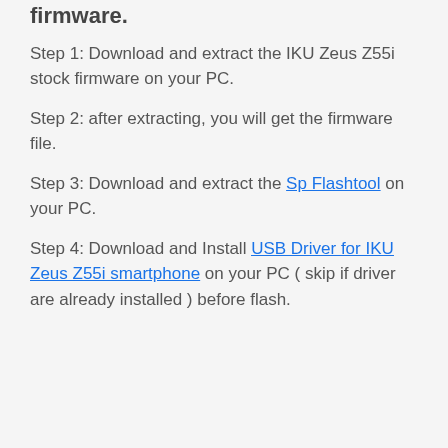Use SP Flashtool Software to Flash the firmware.
Step 1: Download and extract the IKU Zeus Z55i stock firmware on your PC.
Step 2: after extracting, you will get the firmware file.
Step 3: Download and extract the Sp Flashtool on your PC.
Step 4: Download and Install USB Driver for IKU Zeus Z55i smartphone on your PC ( skip if driver are already installed ) before flash.